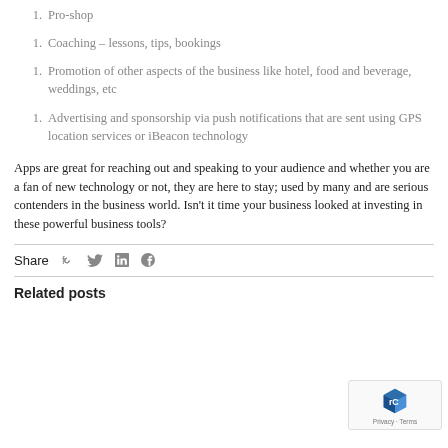1. Pro-shop
1. Coaching – lessons, tips, bookings
1. Promotion of other aspects of the business like hotel, food and beverage, weddings, etc
1. Advertising and sponsorship via push notifications that are sent using GPS location services or iBeacon technology
Apps are great for reaching out and speaking to your audience and whether you are a fan of new technology or not, they are here to stay; used by many and are serious contenders in the business world. Isn't it time your business looked at investing in these powerful business tools?
Share
Related posts